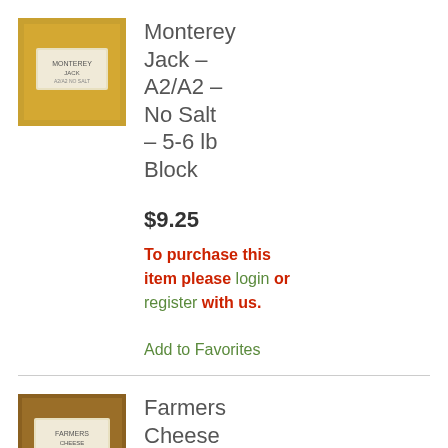[Figure (photo): Photo of Monterey Jack cheese block with label]
Monterey Jack – A2/A2 – No Salt – 5-6 lb Block
$9.25
To purchase this item please login or register with us.
Add to Favorites
[Figure (photo): Photo of Farmers Cheese block with label]
Farmers Cheese – A2/A2